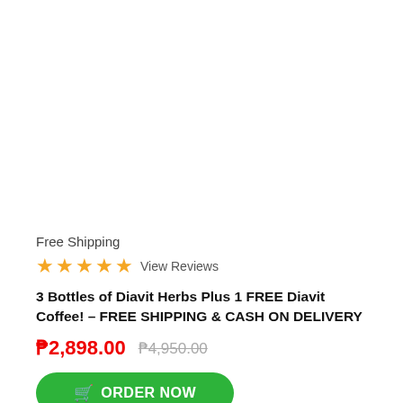[Figure (photo): Product image area (white/blank)]
Free Shipping
★★★★★  View Reviews
3 Bottles of Diavit Herbs Plus 1 FREE Diavit Coffee! – FREE SHIPPING & CASH ON DELIVERY
₱2,898.00  ₱4,950.00
ORDER NOW